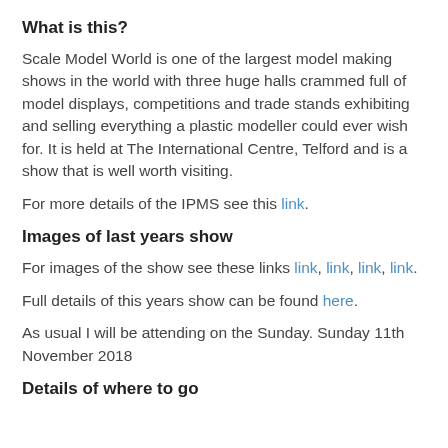What is this?
Scale Model World is one of the largest model making shows in the world with three huge halls crammed full of model displays, competitions and trade stands exhibiting and selling everything a plastic modeller could ever wish for. It is held at The International Centre, Telford and is a show that is well worth visiting.
For more details of the IPMS see this link.
Images of last years show
For images of the show see these links link, link, link, link.
Full details of this years show can be found here.
As usual I will be attending on the Sunday. Sunday 11th November 2018
Details of where to go